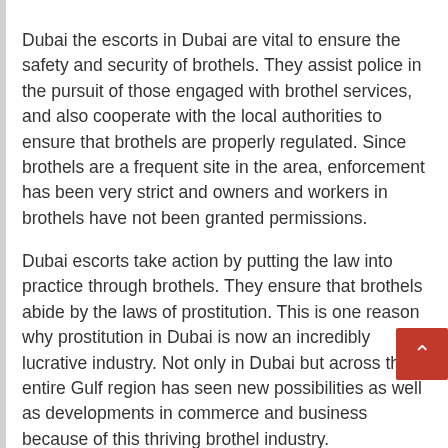Dubai the escorts in Dubai are vital to ensure the safety and security of brothels. They assist police in the pursuit of those engaged with brothel services, and also cooperate with the local authorities to ensure that brothels are properly regulated. Since brothels are a frequent site in the area, enforcement has been very strict and owners and workers in brothels have not been granted permissions.
Dubai escorts take action by putting the law into practice through brothels. They ensure that brothels abide by the laws of prostitution. This is one reason why prostitution in Dubai is now an incredibly lucrative industry. Not only in Dubai but across the entire Gulf region has seen new possibilities as well as developments in commerce and business because of this thriving brothel industry.
The Dubai industry of escort services is also thriving with new faces showing up each day. There are new types of brothels coming up and the demand for Dubai escorts